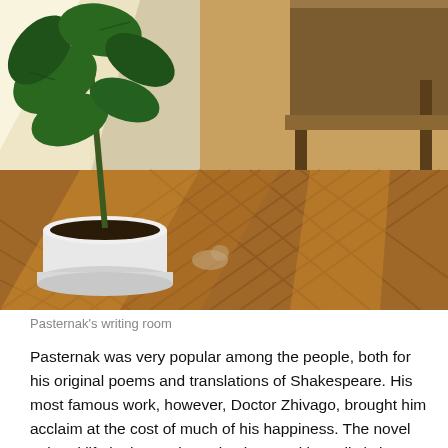[Figure (photo): Interior photo of Pasternak's writing room showing a herringbone parquet wood floor bathed in warm sunlight, a potted fiddle-leaf fig plant in a white pot on the left, and a dark wooden desk or table visible in the upper right corner.]
Pasternak's writing room
Pasternak was very popular among the people, both for his original poems and translations of Shakespeare. His most famous work, however, Doctor Zhivago, brought him acclaim at the cost of much of his happiness. The novel painted life in the Soviet Union in a starkly realistic image and was denied publication—censors accused the novel of being anti-Soviet. Soon afterwards, an Italian publisher